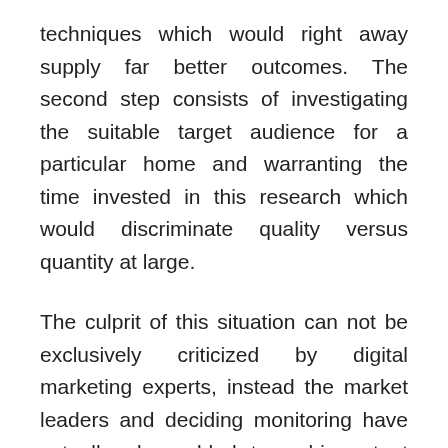techniques which would right away supply far better outcomes. The second step consists of investigating the suitable target audience for a particular home and warranting the time invested in this research which would discriminate quality versus quantity at large.
The culprit of this situation can not be exclusively criticized by digital marketing experts, instead the market leaders and deciding monitoring have actually also added to a big extent where they have missed out on allocating the appropriate sources at the correct time in the appropriate locations. First of all, it is extremely recommended to carry out digital advertising in-house considering that the stakeholders